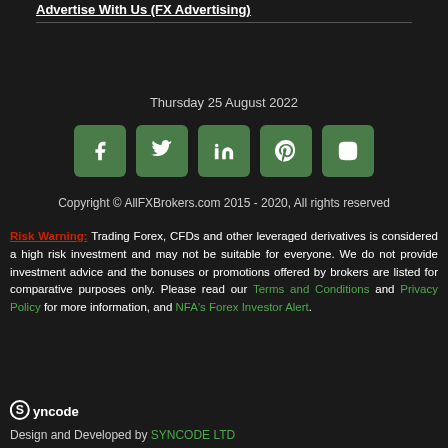Advertise With Us (FX Advertising)
Thursday 25 August 2022
[Figure (infographic): Five green square social media icon buttons: Facebook (f), Twitter (bird), LinkedIn (in), Pinterest (p), VKontakte (VK)]
Copyright © AllFXBrokers.com 2015 - 2020, All rights reserved
Risk Warning: Trading Forex, CFDs and other leveraged derivatives is considered a high risk investment and may not be suitable for everyone. We do not provide investment advice and the bonuses or promotions offered by brokers are listed for comparative purposes only. Please read our Terms and Conditions and Privacy Policy for more information, and NFA's Forex Investor Alert.
[Figure (logo): Syncode logo in white text with stylized S icon]
Design and Developed by SYNCODE LTD